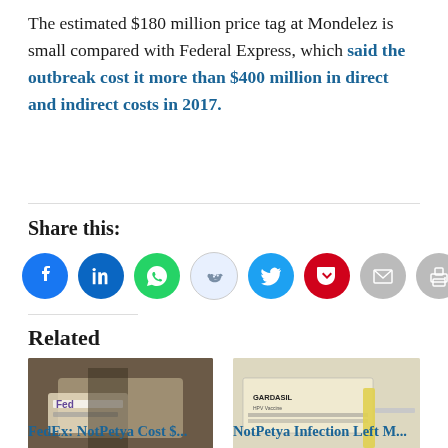The estimated $180 million price tag at Mondelez is small compared with Federal Express, which said the outbreak cost it more than $400 million in direct and indirect costs in 2017.
Share this:
[Figure (other): Social share icons: Facebook, LinkedIn, WhatsApp, Reddit, Twitter, Pocket, Email, Print]
Related
[Figure (photo): Photo of a person holding a FedEx package/envelope]
[Figure (photo): Photo of a Gardasil vaccine box with syringe]
FedEx: NotPetya Cost $...
NotPetya Infection Left M...